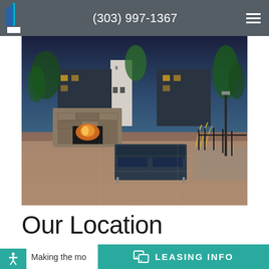(303) 997-1367
[Figure (photo): Outdoor patio area of an apartment complex at dusk, featuring a stone fireplace, modern outdoor furniture with dark blue cushions, ornamental grasses, trees, and multi-story residential buildings in the background.]
Our Location
Making the mo
LEASING INFO